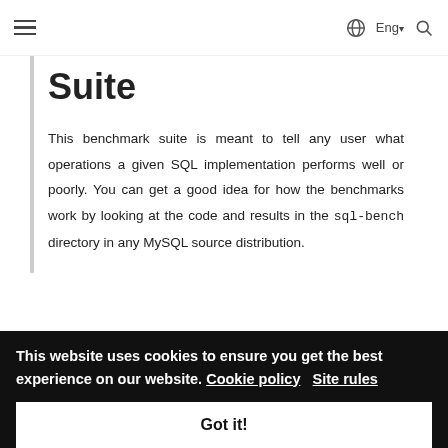≡   Eng ▾  🔍
Suite (partial — top cut off)
This benchmark suite is meant to tell any user what operations a given SQL implementation performs well or poorly. You can get a good idea for how the benchmarks work by looking at the code and results in the sql-bench directory in any MySQL source distribution.
Note that this benchmark is single-threaded, so it measures the minimum time for the operations performed. We plan to add multi-threaded tests to the benchmark suite in the
This website uses cookies to ensure you get the best experience on our website. Cookie policy   Site rules
Got it!